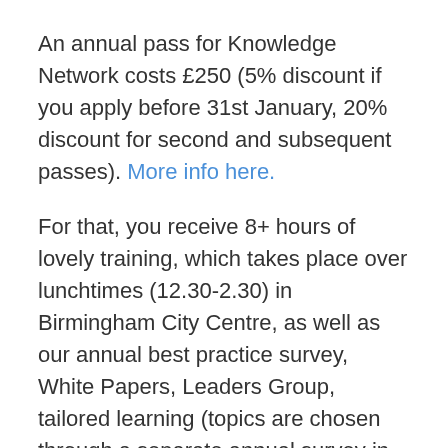An annual pass for Knowledge Network costs £250 (5% discount if you apply before 31st January, 20% discount for second and subsequent passes). More info here.
For that, you receive 8+ hours of lovely training, which takes place over lunchtimes (12.30-2.30) in Birmingham City Centre, as well as our annual best practice survey, White Papers, Leaders Group, tailored learning (topics are chosen through a separate annual survey in each city) and November lunch social.
Buy an early bird pass before 31st January 2016 and get 5% off.
If you are interested in coming to a single event, that costs £100 pp.
We also have a new group in Manchester and I'll release…